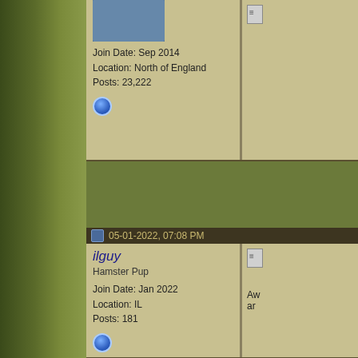[Figure (screenshot): Forum post block for first user (partially visible at top): avatar photo, Join Date Sep 2014, Location North of England, Posts 23,222, online status icon]
Join Date: Sep 2014
Location: North of England
Posts: 23,222
05-01-2022, 07:08 PM
ilguy
Hamster Pup
Join Date: Jan 2022
Location: IL
Posts: 181
05-02-2022, 04:04 AM
Serendipity7000
Hamsters University
Join Date: Sep 2014
[Figure (photo): Hamster avatar photo for Serendipity7000]